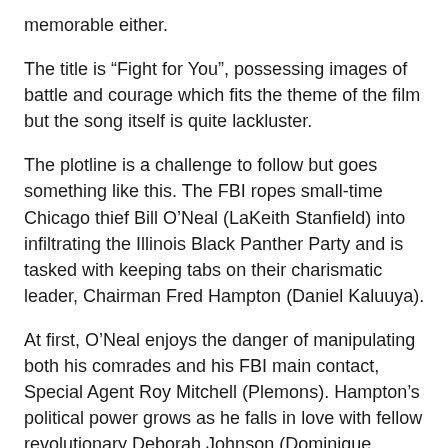memorable either.
The title is “Fight for You”, possessing images of battle and courage which fits the theme of the film but the song itself is quite lackluster.
The plotline is a challenge to follow but goes something like this. The FBI ropes small-time Chicago thief Bill O’Neal (LaKeith Stanfield) into infiltrating the Illinois Black Panther Party and is tasked with keeping tabs on their charismatic leader, Chairman Fred Hampton (Daniel Kaluuya).
At first, O’Neal enjoys the danger of manipulating both his comrades and his FBI main contact, Special Agent Roy Mitchell (Plemons). Hampton’s political power grows as he falls in love with fellow revolutionary Deborah Johnson (Dominique Fishback). To complicate matters she becomes pregnant.
Meanwhile, O’Neal becomes conflicted. Does he align with The